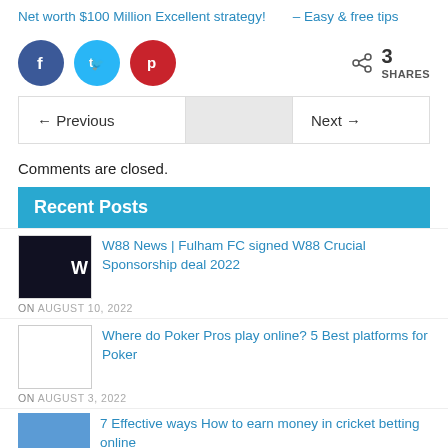Net worth $100 Million
Excellent strategy!
– Easy & free tips
[Figure (infographic): Social share icons: Facebook (dark blue circle), Twitter (light blue circle), Pinterest (red circle), and share count showing 3 SHARES]
[Figure (infographic): Navigation row with ← Previous on left and Next → on right, grey background in middle]
Comments are closed.
Recent Posts
W88 News | Fulham FC signed W88 Crucial Sponsorship deal 2022
ON AUGUST 10, 2022
Where do Poker Pros play online? 5 Best platforms for Poker
ON AUGUST 3, 2022
7 Effective ways How to earn money in cricket betting online